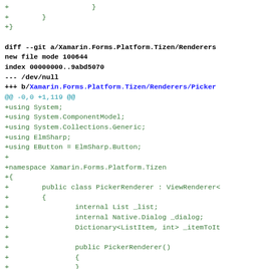Git diff showing new file Xamarin.Forms.Platform.Tizen/Renderers/PickerRenderer with code additions including using statements, namespace, and class definition for PickerRenderer